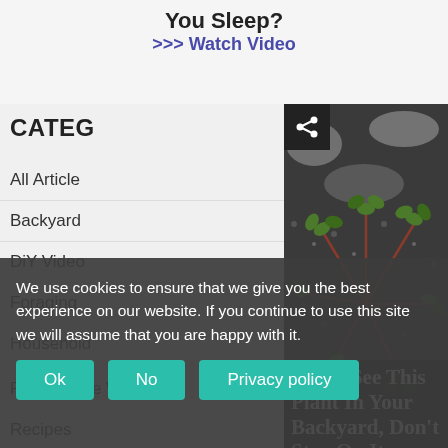You Sleep?
>>> Watch Video
CATEG
All Article
Backyard
DiY Video
Foraging
Household
[Figure (photo): Close-up photo of a low-growing plant with small green leaves spread across dark gravel or asphalt surface, with reddish stems]
If You See This Plant In Your Backyard, Don't Step On It
Plant of The Wee
Recipes
We use cookies to ensure that we give you the best experience on our website. If you continue to use this site we will assume that you are happy with it.
Ok  No  Privacy policy